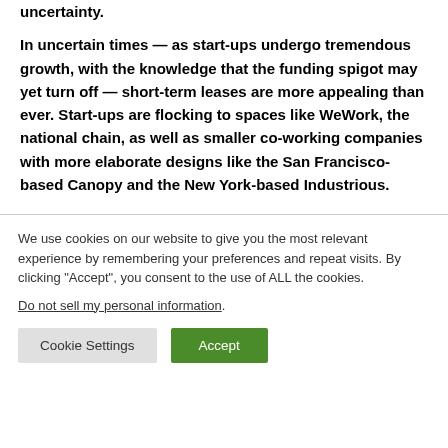uncertainty.
In uncertain times — as start-ups undergo tremendous growth, with the knowledge that the funding spigot may yet turn off — short-term leases are more appealing than ever. Start-ups are flocking to spaces like WeWork, the national chain, as well as smaller co-working companies with more elaborate designs like the San Francisco-based Canopy and the New York-based Industrious.
We use cookies on our website to give you the most relevant experience by remembering your preferences and repeat visits. By clicking "Accept", you consent to the use of ALL the cookies. Do not sell my personal information.
Cookie Settings
Accept